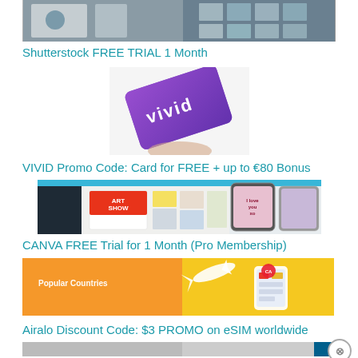[Figure (photo): Shutterstock photo — person at laptop with photos on screen]
Shutterstock FREE TRIAL 1 Month
[Figure (photo): VIVID purple card held in hand]
VIVID Promo Code: Card for FREE + up to €80 Bonus
[Figure (screenshot): Canva interface screenshot showing ART SHOW template and phone mockups]
CANVA FREE Trial for 1 Month (Pro Membership)
[Figure (photo): Airalo orange/yellow banner with airplane and phone showing eSIM app]
Airalo Discount Code: $3 PROMO on eSIM worldwide
[Figure (photo): Partial bottom image strip]
Advertisements
[Figure (photo): Victoria's Secret advertisement banner — SHOP THE COLLECTION, SHOP NOW]